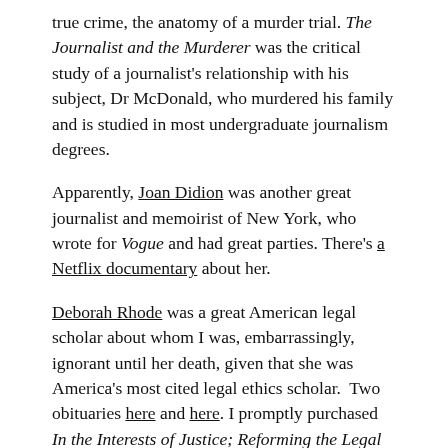true crime, the anatomy of a murder trial. The Journalist and the Murderer was the critical study of a journalist's relationship with his subject, Dr McDonald, who murdered his family and is studied in most undergraduate journalism degrees.
Apparently, Joan Didion was another great journalist and memoirist of New York, who wrote for Vogue and had great parties. There's a Netflix documentary about her.
Deborah Rhode was a great American legal scholar about whom I was, embarrassingly, ignorant until her death, given that she was America's most cited legal ethics scholar. Two obituaries here and here. I promptly purchased In the Interests of Justice; Reforming the Legal Profession which I should have read more of instead of watching Netflix, etc.
(Page 2006 about the full fragment of Dent...